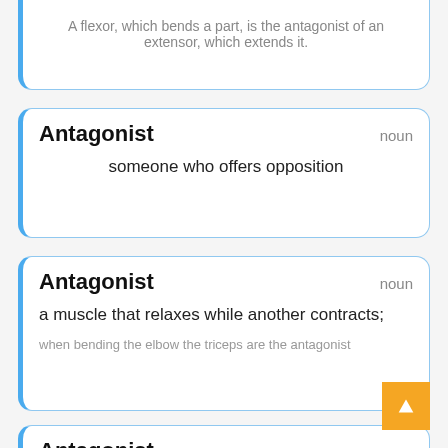A flexor, which bends a part, is the antagonist of an extensor, which extends it.
Antagonist  noun
someone who offers opposition
Antagonist  noun
a muscle that relaxes while another contracts;
when bending the elbow the triceps are the antagonist
Antagonist  noun
a drug that neutralizes or counteracts the effects of